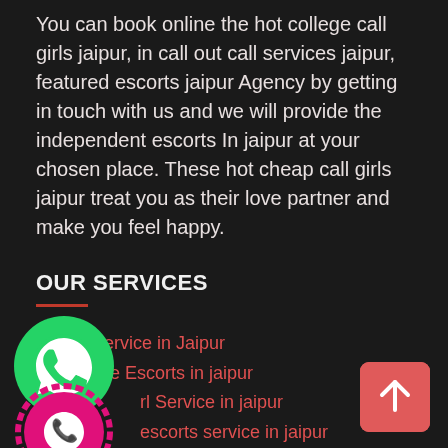You can book online the hot college call girls jaipur, in call out call services jaipur, featured escorts jaipur Agency by getting in touch with us and we will provide the independent escorts In jaipur at your chosen place. These hot cheap call girls jaipur treat you as their love partner and make you feel happy.
OUR SERVICES
Escort Service in Jaipur
Housewife Escorts in jaipur
rl Service in jaipur
escorts service in jaipur
High profile escorts service in jaipur
jaipur call girl
y escorts service in jaipur
[Figure (logo): WhatsApp green logo icon]
[Figure (logo): Pink phone call icon with decorative border]
[Figure (other): Salmon/red scroll-to-top button with upward arrow]